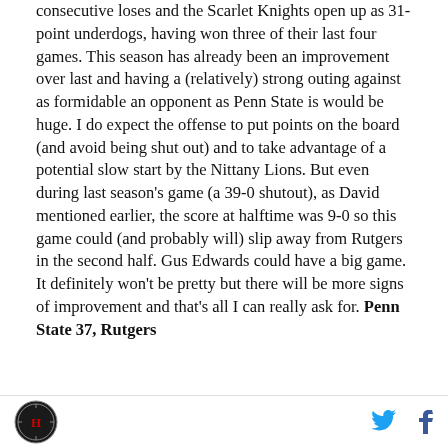consecutive loses and the Scarlet Knights open up as 31-point underdogs, having won three of their last four games. This season has already been an improvement over last and having a (relatively) strong outing against as formidable an opponent as Penn State is would be huge. I do expect the offense to put points on the board (and avoid being shut out) and to take advantage of a potential slow start by the Nittany Lions. But even during last season's game (a 39-0 shutout), as David mentioned earlier, the score at halftime was 9-0 so this game could (and probably will) slip away from Rutgers in the second half. Gus Edwards could have a big game. It definitely won't be pretty but there will be more signs of improvement and that's all I can really ask for. Penn State 37, Rutgers
[logo] [twitter] [facebook]